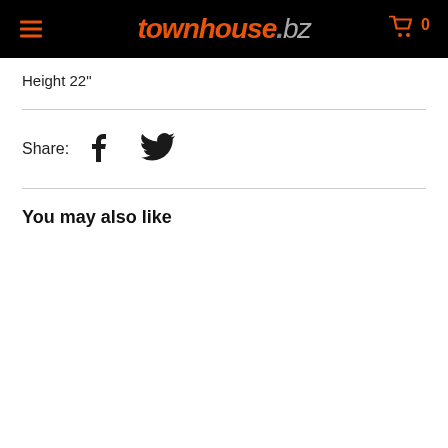townhouse.bz
Height 22"
Share:
You may also like